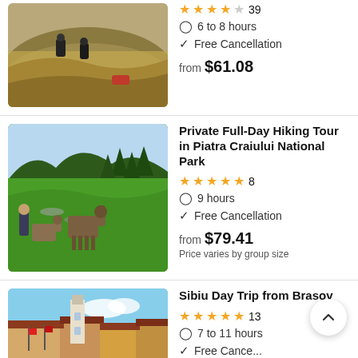[Figure (photo): People running/sliding down a grassy hill slope outdoors]
39
6 to 8 hours
Free Cancellation
from $61.08
[Figure (photo): Donkeys and a person on a lush green mountain meadow with pine trees]
Private Full-Day Hiking Tour in Piatra Craiului National Park
8
9 hours
Free Cancellation
from $79.41
Price varies by group size
[Figure (photo): Sibiu city square with clock tower and European architecture under blue sky]
Sibiu Day Trip from Brasov
13
7 to 11 hours
Free Cancellation